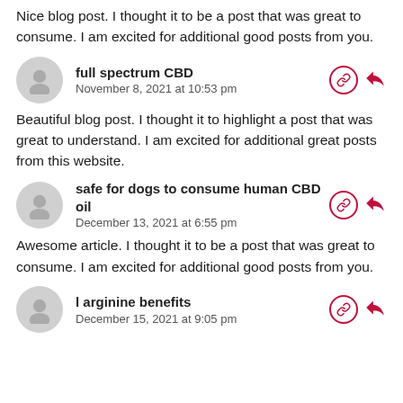Nice blog post. I thought it to be a post that was great to consume. I am excited for additional good posts from you.
full spectrum CBD
November 8, 2021 at 10:53 pm
Beautiful blog post. I thought it to highlight a post that was great to understand. I am excited for additional great posts from this website.
safe for dogs to consume human CBD oil
December 13, 2021 at 6:55 pm
Awesome article. I thought it to be a post that was great to consume. I am excited for additional good posts from you.
l arginine benefits
December 15, 2021 at 9:05 pm